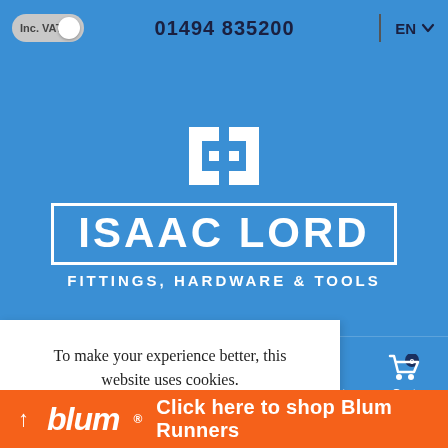Inc. VAT  01494 835200  EN
[Figure (logo): Isaac Lord Fittings, Hardware & Tools logo — white I-beam icon above boxed text ISAAC LORD and subtitle FITTINGS, HARDWARE & TOOLS on blue background]
Browse  Search  Favourites  My account  Cart
To make your experience better, this website uses cookies.
VAT.
blum  Click here to shop Blum Runners